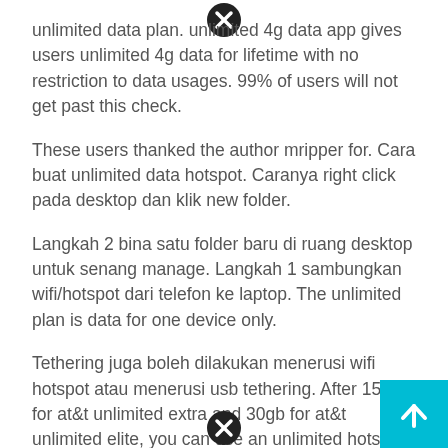unlimited data plan. unlimited 4g data app gives users unlimited 4g data for lifetime with no restriction to data usages. 99% of users will not get past this check.
These users thanked the author mripper for. Cara buat unlimited data hotspot. Caranya right click pada desktop dan klik new folder.
Langkah 2 bina satu folder baru di ruang desktop untuk senang manage. Langkah 1 sambungkan wifi/hotspot dari telefon ke laptop. The unlimited plan is data for one device only.
Tethering juga boleh dilakukan menerusi wifi hotspot atau menerusi usb tethering. After 15gb for at&t unlimited extra and 30gb for at&t unlimited elite, you can use an unlimited hotspot at a maximum speed of 128kbps. Use this pin place of the password while connecting to t...